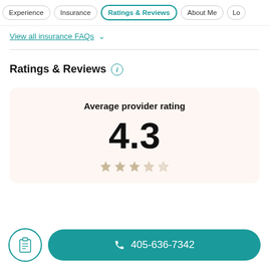Experience | Insurance | Ratings & Reviews | About Me | Lo...
View all insurance FAQs ∨
Ratings & Reviews ℹ
Average provider rating
4.3
☎ 405-636-7342